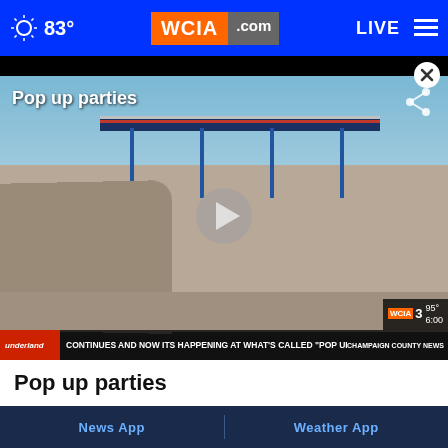83° WCIA.com LIVE
[Figure (screenshot): Video thumbnail showing an abandoned gas station with cracked pavement in the foreground. Overlay text reads 'Pop up parties'. A play button is visible. Lower-third ticker reads: 'CONTINUES AND NOW ITS HAPPENING AT WHAT’S CALLED “POP UP'. WCIA 03 bug in corner shows 95° 6:00.]
Pop up parties
News App
Weather App
Download on the
Download on the